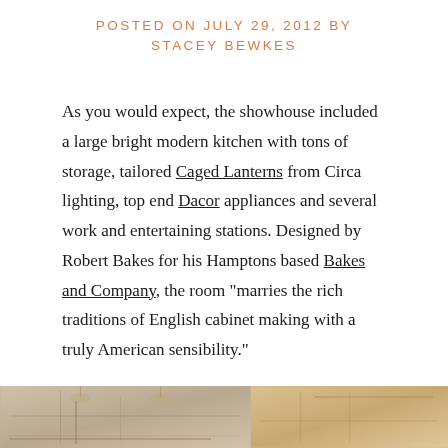Posted on July 29, 2012 by Stacey Bewkes
As you would expect, the showhouse included a large bright modern kitchen with tons of storage, tailored Caged Lanterns from Circa lighting, top end Dacor appliances and several work and entertaining stations. Designed by Robert Bakes for his Hamptons based Bakes and Company, the room “marries the rich traditions of English cabinet making with a truly American sensibility.”
[Figure (photo): Bottom strip showing two kitchen/interior photos side by side]